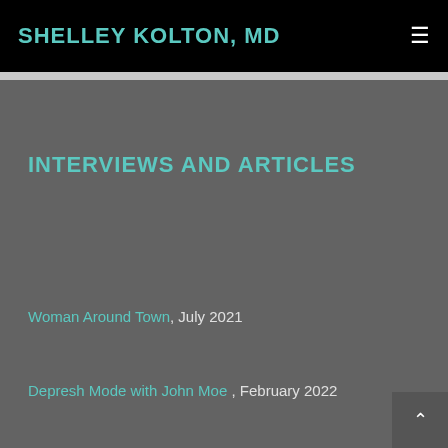SHELLEY KOLTON, MD
INTERVIEWS AND ARTICLES
Woman Around Town, July 2021
Depresh Mode with John Moe , February 2022